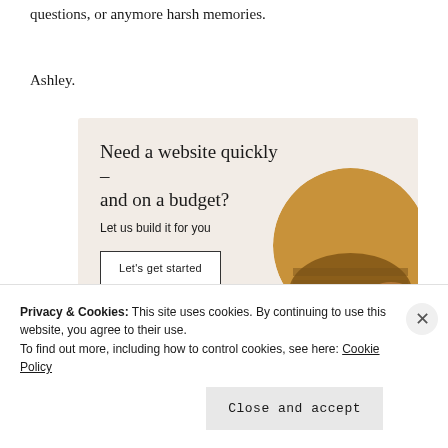questions, or anymore harsh memories.
Ashley.
[Figure (infographic): Advertisement banner with beige background. Headline: 'Need a website quickly – and on a budget?' Subtext: 'Let us build it for you'. Button: 'Let's get started'. Image of a person typing on a laptop in a circular crop.]
Privacy & Cookies: This site uses cookies. By continuing to use this website, you agree to their use.
To find out more, including how to control cookies, see here: Cookie Policy
Close and accept